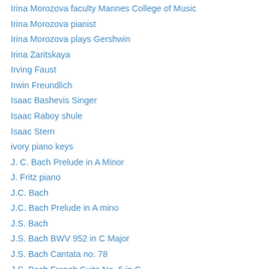Irina Morozova faculty Mannes College of Music
Irina Morozova pianist
Irina Morozova plays Gershwin
Irina Zaritskaya
Irving Faust
Irwin Freundlich
Isaac Bashevis Singer
Isaac Raboy shule
Isaac Stern
ivory piano keys
J. C. Bach Prelude in A Minor
J. Fritz piano
J.C. Bach
J.C. Bach Prelude in A mino
J.S. Bach
J.S. Bach BWV 952 in C Major
J.S. Bach Cantata no. 78
J.S. Bach French Suite No. 5 in G
J.S. Bach French Suite no. 5 in G Major BWV 816